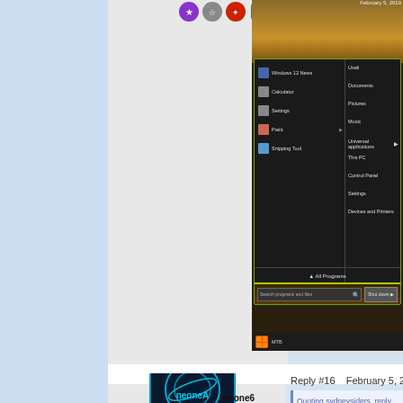[Figure (screenshot): Windows Start Menu screenshot showing programs list including Windows 12 News, Calculator, Settings, Paint, Snipping Tool on left; links to Users, Documents, Pictures, Music, Universal applications, This PC, Control Panel, Settings, Devices and Printers on right. All Programs link at bottom, Search programs and files bar, Shut down button. Desert/sandy wallpaper visible behind.]
[Figure (photo): User avatar for neone6 - circular logo with teal/blue design on dark background]
neone6
Reply #16    February 5, 2019 8:2
Quoting sydneysiders, reply ...